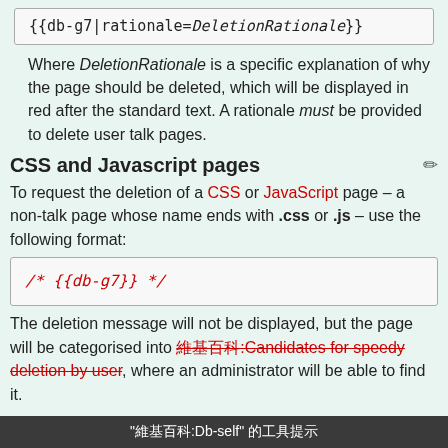{{db-g7|rationale=DeletionRationale}}
Where DeletionRationale is a specific explanation of why the page should be deleted, which will be displayed in red after the standard text. A rationale must be provided to delete user talk pages.
CSS and Javascript pages
To request the deletion of a CSS or JavaScript page – a non-talk page whose name ends with .css or .js – use the following format:
/* {{db-g7}} */
The deletion message will not be displayed, but the page will be categorised into 維基百科:Candidates for speedy deletion by user, where an administrator will be able to find it.
"維基百科:Db-self" 的工具提示